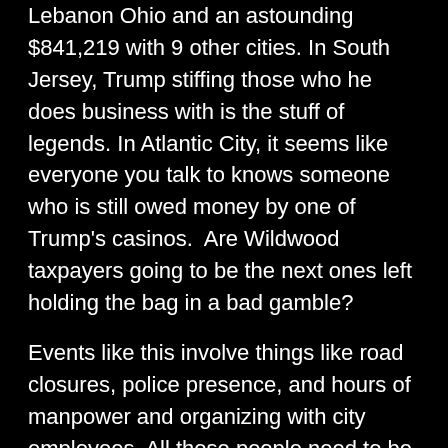Lebanon Ohio and an astounding $841,219 with 9 other cities. In South Jersey, Trump stiffing those who he does business with is the stuff of legends. In Atlantic City, it seems like everyone you talk to knows someone who is still owed money by one of Trump's casinos.  Are Wildwood taxpayers going to be the next ones left holding the bag in a bad gamble?
Events like this involve things like road closures, police presence, and hours of manpower and organizing with city employees. All those people need to be paid for their labor, often to the sum of tens of thousands of dollars. Who is going to be writing that check? Trump? Van Drew? Or the residents of Wildwood. The tax rate in Wildwood is lower than many other regional municipalities, but I doubt residents want to see an